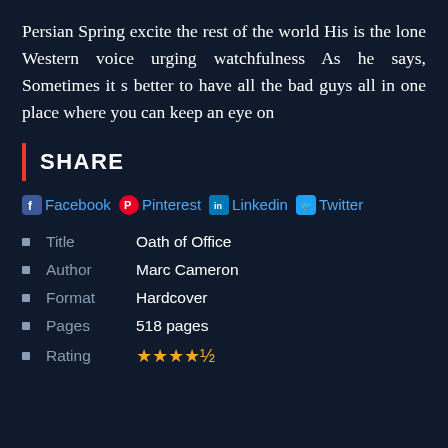Persian Spring excite the rest of the world His is the lone Western voice urging watchfulness As he says, Sometimes it s better to have all the bad guys all in one place where you can keep an eye on
SHARE
Facebook Pinterest Linkedin Twitter
Title   Oath of Office
Author   Marc Cameron
Format   Hardcover
Pages   518 pages
Rating  ★★★★½